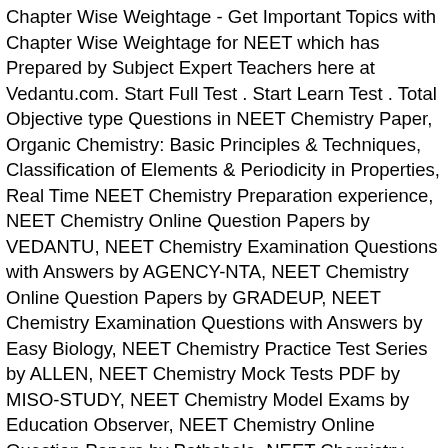Chapter Wise Weightage - Get Important Topics with Chapter Wise Weightage for NEET which has Prepared by Subject Expert Teachers here at Vedantu.com. Start Full Test . Start Learn Test . Total Objective type Questions in NEET Chemistry Paper, Organic Chemistry: Basic Principles & Techniques, Classification of Elements & Periodicity in Properties, Real Time NEET Chemistry Preparation experience, NEET Chemistry Online Question Papers by VEDANTU, NEET Chemistry Examination Questions with Answers by AGENCY-NTA, NEET Chemistry Online Question Papers by GRADEUP, NEET Chemistry Examination Questions with Answers by Easy Biology, NEET Chemistry Practice Test Series by ALLEN, NEET Chemistry Mock Tests PDF by MISO-STUDY, NEET Chemistry Model Exams by Education Observer, NEET Chemistry Online Question Papers by Pathshala, NEET Chemistry Examination Questions with Answers by Etoos India, NEET Chemistry Practice Test Series by Exam Bazaar, NEET Chemistry Mock Tests PDF by Our Self Study, NEET Chemistry Model Exams by Career Orbits, NEET Chemistry Online Question Papers by Topper Exam, NEET Chemistry Examination Questions with Answers by Topper Learning, NEET Chemistry Practice Test Series by TCY Online, NEET Chemistry Online Question Papers by EDU GORILLA, NEET Chemistry Examination Questions with Answers by UNACADEMY, NEET Chemistry Practice